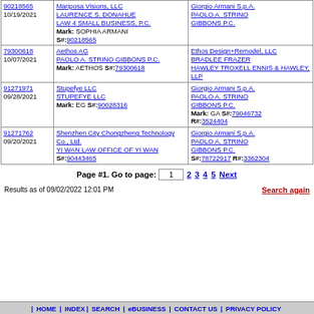|  | Plaintiff / Mark | Defendant / Mark |
| --- | --- | --- |
| 90218565
10/19/2021 | Mariposa Visions, LLC
LAURENCE S. DONAHUE
LAW 4 SMALL BUSINESS, P.C.
Mark: SOPHIA ARMANI S#:90218565 | Giorgio Armani S.p.A.
PAOLO A. STRINO
GIBBONS P.C. |
| 79300618
10/07/2021 | Aethos AG
PAOLO A. STRINO GIBBONS P.C.
Mark: AETHOS S#:79300618 | Ethos Design+Remodel, LLC
BRADLEE FRAZER
HAWLEY TROXELL ENNIS & HAWLEY, LLP |
| 91271971
09/28/2021 | Stupefye LLC
STUPEFYE LLC
Mark: EG S#:90028316 | Giorgio Armani S.p.A.
PAOLO A. STRINO
GIBBONS P.C.
Mark: GA S#:79046732 R#:3524404 |
| 91271762
09/20/2021 | Shenzhen City Chongzheng Technology Co., Ltd.
YI WAN LAW OFFICE OF YI WAN
S#:90443465 | Giorgio Armani S.p.A.
PAOLO A. STRINO
GIBBONS P.C.
S#:78722917 R#:3362304 |
Page #1. Go to page: 1  2 3 4 5 Next
Results as of 09/02/2022 12:01 PM
Search again
| HOME | INDEX | SEARCH | eBUSINESS | CONTACT US | PRIVACY POLICY